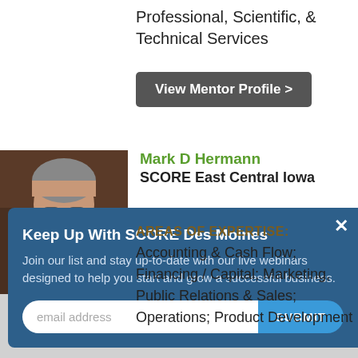Professional, Scientific, & Technical Services
View Mentor Profile >
[Figure (photo): Headshot photo of Mark D Hermann, a middle-aged man with gray hair and glasses]
Mark D Hermann
SCORE East Central Iowa
Keep Up With SCORE Des Moines
Join our list and stay up-to-date with our live webinars designed to help you start and grow a successful business.
email address
SUBMIT
AREAS OF EXPERTISE: Accounting & Cash Flow; Financing / Capital; Marketing, Public Relations & Sales; Operations; Product Development